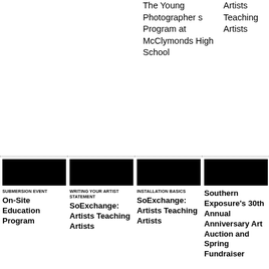The Young Photographers Program at McClymonds High School
Artists Teaching Artists
[Figure (photo): Black thumbnail image for Submersion Event card]
SUBMERSION EVENT
On-Site Education Program
[Figure (photo): Black thumbnail image for Writing Your Artist Statement card]
WRITING YOUR ARTIST STATEMENT
SoExchange: Artists Teaching Artists
[Figure (photo): Black thumbnail image for Installation Basics card]
INSTALLATION BASICS
SoExchange: Artists Teaching Artists
[Figure (photo): Black thumbnail image for Southern Exposure card]
Southern Exposure's 30th Annual Anniversary Art Auction and Spring Fundraiser